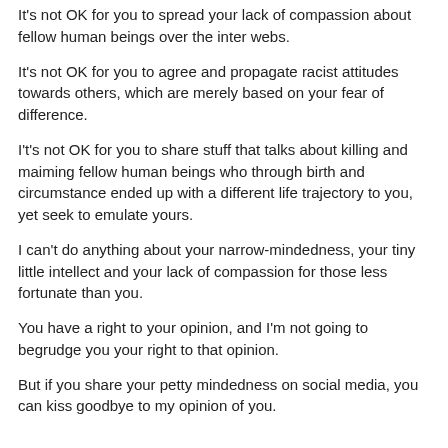It's not OK for you to spread your lack of compassion about fellow human beings over the inter webs.
It's not OK for you to agree and propagate racist attitudes towards others, which are merely based on your fear of difference.
I't's not OK for you to share stuff that talks about killing and maiming fellow human beings who through birth and circumstance ended up with a different life trajectory to you, yet seek to emulate yours.
I can't do anything about your narrow-mindedness, your tiny little intellect and your lack of compassion for those less fortunate than you.
You have a right to your opinion, and I'm not going to begrudge you your right to that opinion.
But if you share your petty mindedness on social media, you can kiss goodbye to my opinion of you.